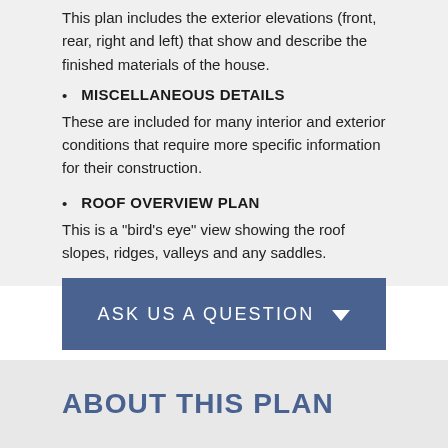This plan includes the exterior elevations (front, rear, right and left) that show and describe the finished materials of the house.
MISCELLANEOUS DETAILS
These are included for many interior and exterior conditions that require more specific information for their construction.
ROOF OVERVIEW PLAN
This is a "bird's eye" view showing the roof slopes, ridges, valleys and any saddles.
ASK US A QUESTION
ABOUT THIS PLAN